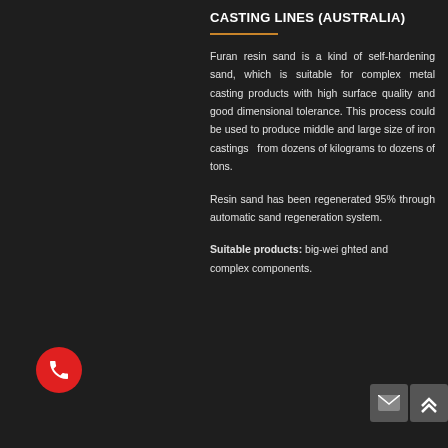CASTING LINES (AUSTRALIA)
Furan resin sand is a kind of self-hardening sand, which is suitable for complex metal casting products with high surface quality and good dimensional tolerance. This process could be used to produce middle and large size of iron castings from dozens of kilograms to dozens of tons.
Resin sand has been regenerated 95% through automatic sand regeneration system.
Suitable products: big-weighted and complex components.